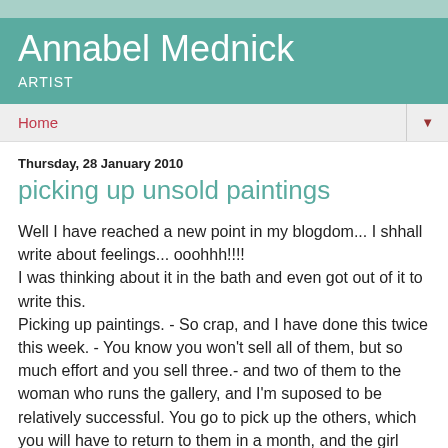Annabel Mednick
ARTIST
Home
Thursday, 28 January 2010
picking up unsold paintings
Well I have reached a new point in my blogdom... I shhall write about feelings... ooohhh!!!!
I was thinking about it in the bath and even got out of it to write this.
Picking up paintings. - So crap, and I have done this twice this week. - You know you won't sell all of them, but so much effort and you sell three.- and two of them to the woman who runs the gallery, and I'm suposed to be relatively successful. You go to pick up the others, which you will have to return to them in a month, and the girl explains they just don't have